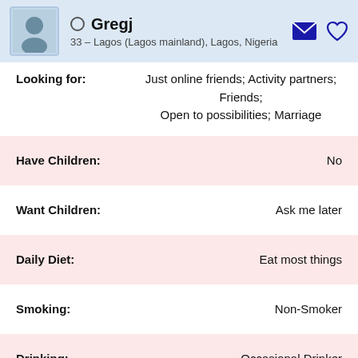Gregj – 33 – Lagos (Lagos mainland), Lagos, Nigeria
Looking for: Just online friends; Activity partners; Friends; Open to possibilities; Marriage
| Field | Value |
| --- | --- |
| Have Children: | No |
| Want Children: | Ask me later |
| Daily Diet: | Eat most things |
| Smoking: | Non-Smoker |
| Drinking: | Occasional Drinker |
| Education: | Ask me later |
| Occupation: | Sales and Marketing |